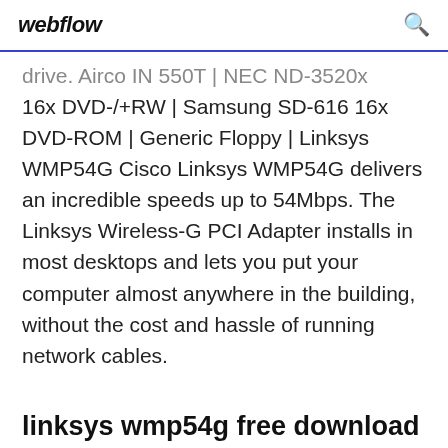webflow
drive. Airco IN 550T | NEC ND-3520x 16x DVD-/+RW | Samsung SD-616 16x DVD-ROM | Generic Floppy | Linksys WMP54G Cisco Linksys WMP54G delivers an incredible speeds up to 54Mbps. The Linksys Wireless-G PCI Adapter installs in most desktops and lets you put your computer almost anywhere in the building, without the cost and hassle of running network cables.
linksys wmp54g free download - Linksys WMP54G Wireless-G PCI